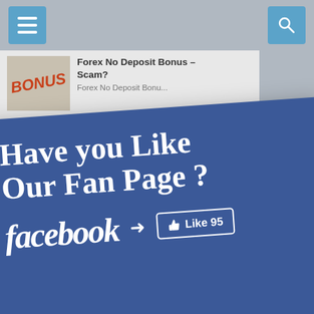[Figure (screenshot): Mobile website navigation bar with hamburger menu icon and search icon on gray background]
[Figure (screenshot): Partially visible article thumbnail with BONUS text and article title 'Forex No Deposit Bonus – Scam?' with snippet text]
[Figure (infographic): Facebook fan page promotional banner (blue, rotated) with text 'Have you Like Our Fan Page?' facebook wordmark, arrow, and Like 95 button]
forex account, trading foreign currency,...
[Figure (screenshot): Article thumbnail with stock chart image and Thai title text about Fundamental Analysis with snippet]
วิเคราะห์ หุ้น ปัจจัย (Fundamental Analysis) วิเคราะห์ หุ้น ปัจจัย (Fundamental Analysis) Fundamental Analysis (FA) - 1 วิเคราะห์หุ้น